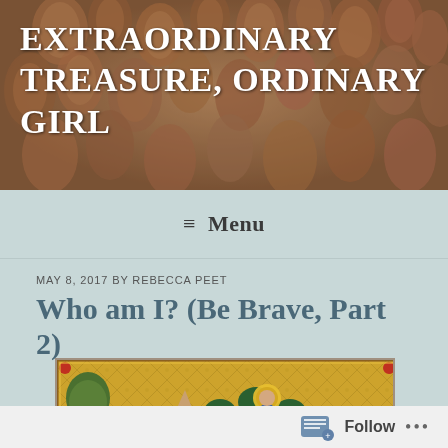EXTRAORDINARY TREASURE, ORDINARY GIRL
≡ Menu
MAY 8, 2017 BY REBECCA PEET
Who am I? (Be Brave, Part 2)
[Figure (illustration): Medieval illuminated manuscript showing a kneeling figure in orange robes before a figure of Christ seated in a stylized tree, with a golden diamond-patterned background and decorative border]
Follow ...